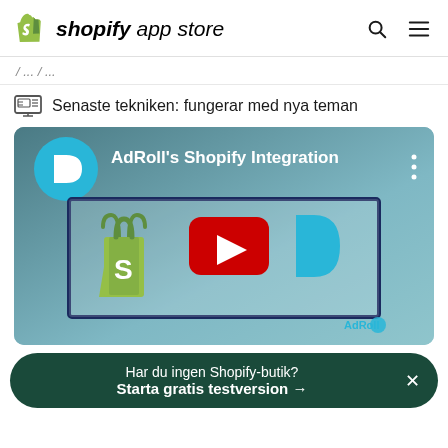shopify app store
Senaste tekniken: fungerar med nya teman
[Figure (screenshot): YouTube-style video thumbnail for AdRoll's Shopify Integration. Shows AdRoll logo in a blue circle top-left, title 'AdRoll's Shopify Integration', three-dots menu icon top-right. Center shows a framed image with Shopify bag logo, YouTube play button in red, and AdRoll 'D' logo in cyan. Bottom-right shows AdRoll branding.]
Har du ingen Shopify-butik? Starta gratis testversion →